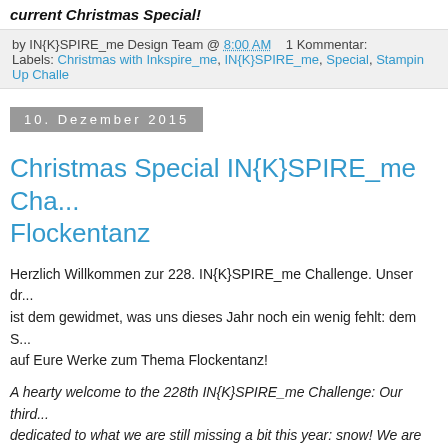current Christmas Special!
by IN{K}SPIRE_me Design Team @ 8:00 AM    1 Kommentar:
Labels: Christmas with Inkspire_me, IN{K}SPIRE_me, Special, Stampin Up Challe
10. Dezember 2015
Christmas Special IN{K}SPIRE_me Cha... Flockentanz
Herzlich Willkommen zur 228. IN{K}SPIRE_me Challenge. Unser dr... ist dem gewidmet, was uns dieses Jahr noch ein wenig fehlt: dem S... auf Eure Werke zum Thema Flockentanz!
A hearty welcome to the 228th IN{K}SPIRE_me Challenge: Our third... dedicated to what we are still missing a bit this year: snow! We are l... projects with swinging snowflakes!
[Figure (logo): IN{K}SPIRE_me CHALLENGE logo with Christmas text]